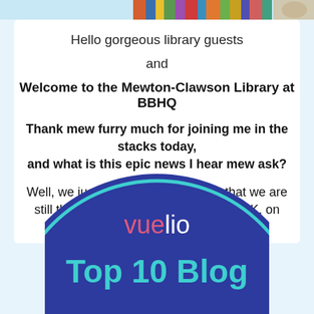[Figure (photo): Colorful strip of library/books photo at the top of the page]
Hello gorgeous library guests
and
Welcome to the Mewton-Clawson Library at BBHQ
Thank mew furry much for joining me in the stacks today, and what is this epic news I hear mew ask?
Well, we just heard a few days ago that we are still the Number Two Pet Blog in the U.K. on Vuelio's epic list.
[Figure (logo): Vuelio Top 10 Blog badge — dark blue circle with teal ring border, pink and white 'vuelio' text, teal 'Top 10 Blog' text]